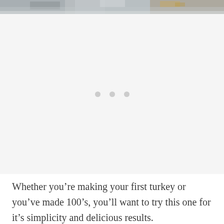[Figure (photo): Partial view of a roasted turkey or food item, showing textured crispy surface with golden-brown and gray tones — cropped at the top of the page]
[Figure (other): Slideshow placeholder area with light gray background and three gray dots indicating a carousel/slideshow navigation]
Whether you're making your first turkey or you've made 100's, you'll want to try this one for it's simplicity and delicious results.